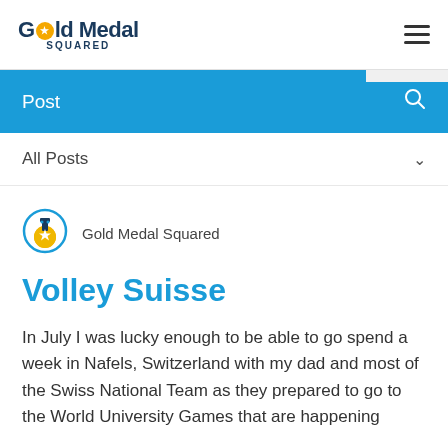Gold Medal Squared
Post
All Posts
[Figure (logo): Gold Medal Squared circular logo icon with a gold medal and star]
Gold Medal Squared
Volley Suisse
In July I was lucky enough to be able to go spend a week in Nafels, Switzerland with my dad and most of the Swiss National Team as they prepared to go to the World University Games that are happening